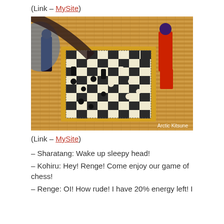(Link – MySite)
[Figure (photo): A chess board with black and white pieces mid-game on a bamboo mat surface, with anime figurines around it. A red and white figurine stands on the right, and a dark figurine is on the left. Watermark reads 'Arctic Kitsune'.]
(Link – MySite)
– Sharatang: Wake up sleepy head!
– Kohiru: Hey! Renge! Come enjoy our game of chess!
– Renge: OI! How rude! I have 20% energy left! I